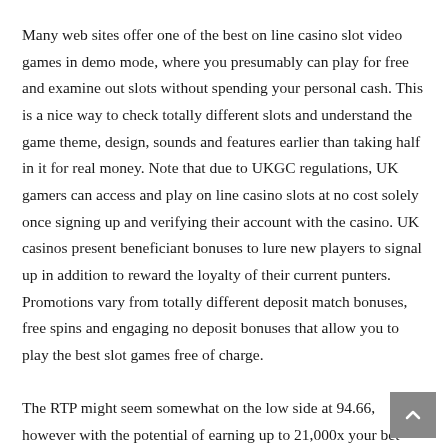Many web sites offer one of the best on line casino slot video games in demo mode, where you presumably can play for free and examine out slots without spending your personal cash. This is a nice way to check totally different slots and understand the game theme, design, sounds and features earlier than taking half in it for real money. Note that due to UKGC regulations, UK gamers can access and play on line casino slots at no cost solely once signing up and verifying their account with the casino. UK casinos present beneficiant bonuses to lure new players to signal up in addition to reward the loyalty of their current punters. Promotions vary from totally different deposit match bonuses, free spins and engaging no deposit bonuses that allow you to play the best slot games free of charge.

The RTP might seem somewhat on the low side at 94.66, however with the potential of earning up to 21,000x your bet